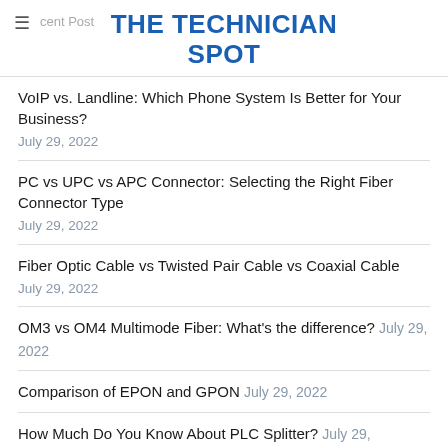THE TECHNICIAN SPOT
VoIP vs. Landline: Which Phone System Is Better for Your Business? — July 29, 2022
PC vs UPC vs APC Connector: Selecting the Right Fiber Connector Type — July 29, 2022
Fiber Optic Cable vs Twisted Pair Cable vs Coaxial Cable — July 29, 2022
OM3 vs OM4 Multimode Fiber: What's the difference? July 29, 2022
Comparison of EPON and GPON July 29, 2022
How Much Do You Know About PLC Splitter? July 29,